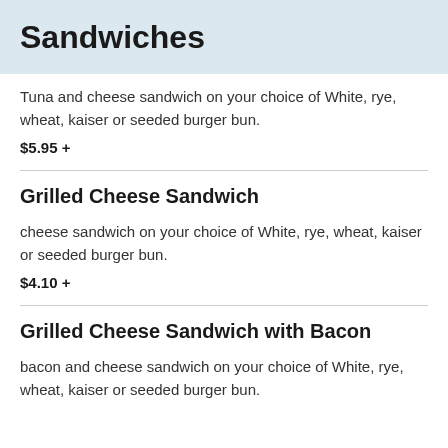Sandwiches
Tuna and cheese sandwich on your choice of White, rye, wheat, kaiser or seeded burger bun.
$5.95 +
Grilled Cheese Sandwich
cheese sandwich on your choice of White, rye, wheat, kaiser or seeded burger bun.
$4.10 +
Grilled Cheese Sandwich with Bacon
bacon and cheese sandwich on your choice of White, rye, wheat, kaiser or seeded burger bun.